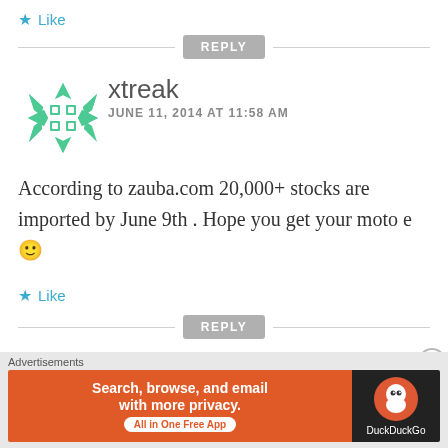★ Like
REPLY
[Figure (logo): Green snowflake/asterisk avatar icon for user xtreak]
xtreak
JUNE 11, 2014 AT 11:58 AM
According to zauba.com 20,000+ stocks are imported by June 9th . Hope you get your moto e 🙂
★ Like
REPLY
Advertisements
[Figure (screenshot): DuckDuckGo advertisement banner: orange left panel with text 'Search, browse, and email with more privacy. All in One Free App' and dark right panel with DuckDuckGo logo]